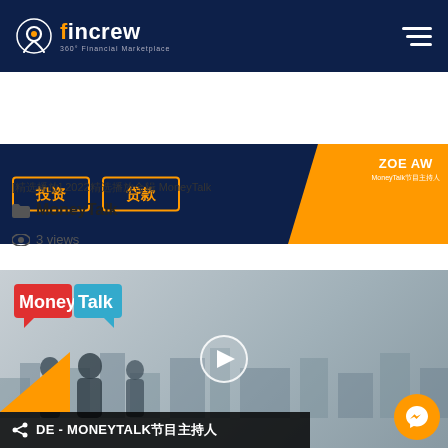fincrew 360° Financial Marketplace
[Figure (photo): Banner with 投资 and 贷款 buttons and ZOE AW MoneyTalk节目主持人 on orange background]
[精选播放] 2022精选播放合辑 MoneyTalk
📁 MoneyTalk
👁 3 views
[Figure (photo): MoneyTalk video thumbnail with Money Talk logo, woman with glasses, city silhouette, play button, and bottom bar text: DE - MONEYTALK节目主持人]